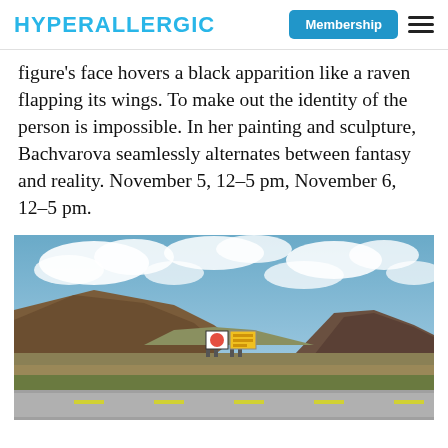HYPERALLERGIC | Membership
figure's face hovers a black apparition like a raven flapping its wings. To make out the identity of the person is impossible. In her painting and sculpture, Bachvarova seamlessly alternates between fantasy and reality. November 5, 12–5 pm, November 6, 12–5 pm.
[Figure (photo): Landscape photograph showing a highway scene with mountains in the background, a partly cloudy blue sky, green and brown hillsides, and small roadside billboards in the distance.]